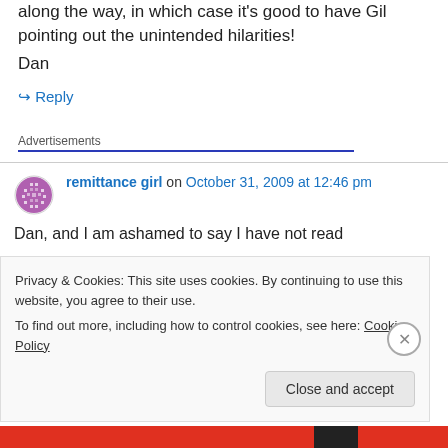along the way, in which case it's good to have Gil pointing out the unintended hilarities!
Dan
↪ Reply
Advertisements
remittance girl on October 31, 2009 at 12:46 pm
Dan, and I am ashamed to say I have not read
Privacy & Cookies: This site uses cookies. By continuing to use this website, you agree to their use.
To find out more, including how to control cookies, see here: Cookie Policy
Close and accept